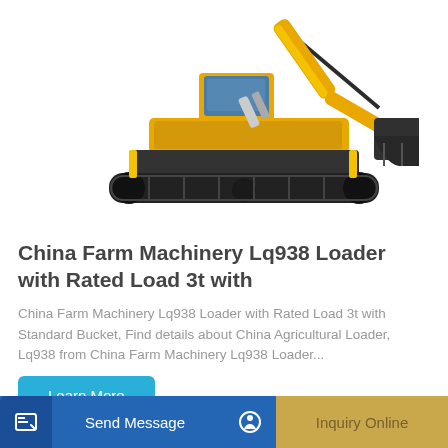[Figure (photo): Yellow excavator/loader construction machine on white background, with extended arm and claw/bucket attachment]
China Farm Machinery Lq938 Loader with Rated Load 3t with
China Farm Machinery Lq938 Loader with Rated Load 3t with Standard Bucket, Find details about China Agricultural Loader, Lq938 from China Farm Machinery Lq938 Loader...
Learn More
Send Message
Inquiry Online